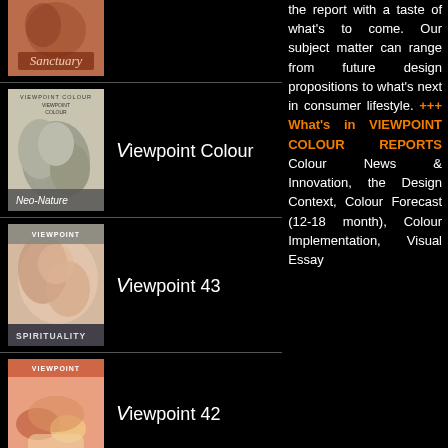[Figure (illustration): Cover of Sanctuary publication – reddish-brown image with text 'Sanctuary']
[Figure (illustration): Cover of Viewpoint Colour – grey sculptural stone forms, title 'VIEWPOINT COLOUR', subtitle 'Neo-Nature']
Viewpoint Colour
[Figure (illustration): Cover of Viewpoint 43 – floral/coral imagery, subtitle 'SPIRITUALITY']
Viewpoint 43
[Figure (illustration): Cover of Viewpoint 42 – food imagery, subtitle 'GUILT... FREE...']
Viewpoint 42
the report with a taste of what's to come. Our subject matter can range from future design propositions to what's next in consumer lifestyle. +++ What's in VIEWPOINT COLOUR REPORTS Colour News & Innovation, the Design Context, Colour Forecast (12-18 month), Colour Implementation, Visual Essay